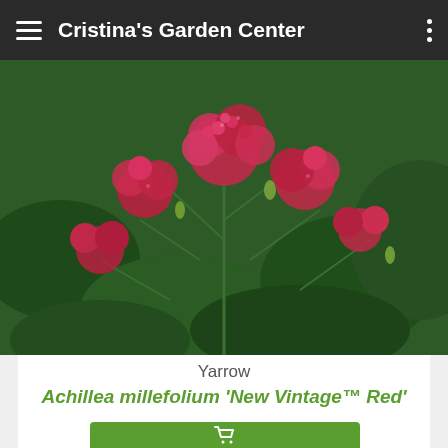Cristina's Garden Center
[Figure (photo): Close-up photograph of Achillea millefolium 'New Vintage Red' (Yarrow) showing clusters of deep pink/red flowers on green stems with feathery foliage in the background]
Yarrow
Achillea millefolium 'New Vintage™ Red'
1 gallon - $9.80